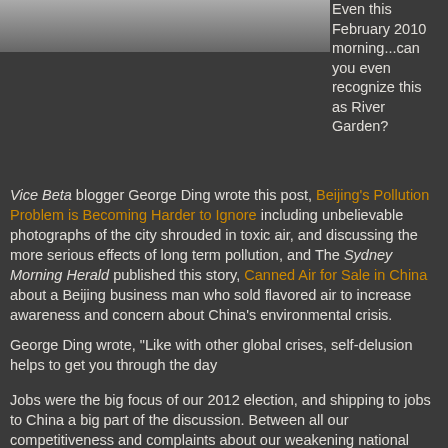[Figure (photo): Dark, smoggy or foggy outdoor scene, possibly of River Garden area in Beijing]
Even this February 2010 morning...can you even recognize this as River Garden?
Vice Beta blogger George Ding wrote this post, Beijing's Pollution Problem is Becoming Harder to Ignore including unbelievable photographs of the city shrouded in toxic air, and discussing the more serious effects of long term pollution, and The Sydney Morning Herald published this story, Canned Air for Sale in China about a Beijing business man who sold flavored air to increase awareness and concern about China's environmental crisis.
George Ding wrote, "Like with other global crises, self-delusion helps to get you through the day
Jobs were the big focus of our 2012 election, and shipping to jobs to China a big part of the discussion. Between all our competitiveness and complaints about our weakening national economy, do we give China any credit for bearing the...